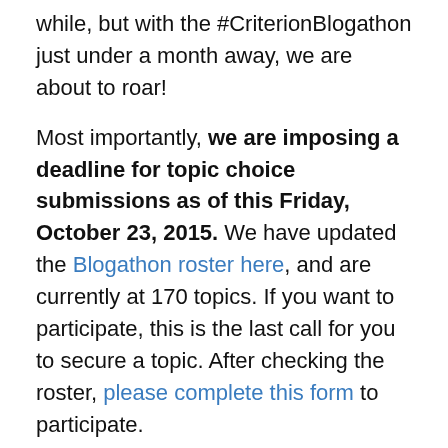while, but with the #CriterionBlogathon just under a month away, we are about to roar!
Most importantly, we are imposing a deadline for topic choice submissions as of this Friday, October 23, 2015. We have updated the Blogathon roster here, and are currently at 170 topics. If you want to participate, this is the last call for you to secure a topic. After checking the roster, please complete this form to participate.
You may also be interested in the podcast that we recently recorded with Kristina over this past weekend. We discussed not only the blogosphere, blogathons, and online film community, but also this specific blogathon. Hopefully you will find it to be an interesting discussion. We certainly enjoyed it! Kristina blogged about her experience here.